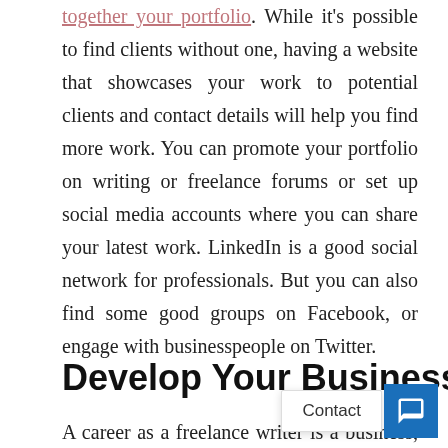together your portfolio. While it's possible to find clients without one, having a website that showcases your work to potential clients and contact details will help you find more work. You can promote your portfolio on writing or freelance forums or set up social media accounts where you can share your latest work. LinkedIn is a good social network for professionals. But you can also find some good groups on Facebook, or engage with businesspeople on Twitter.
Develop Your Business Skills
A career as a freelance writer is a business, and